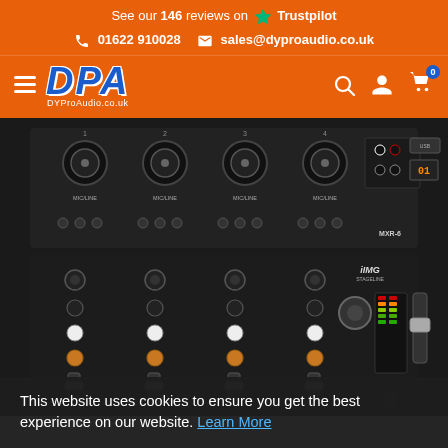See our 146 reviews on Trustpilot
01622 910028  sales@dyproaudio.co.uk
[Figure (logo): DPA DYProAudio.co.uk logo in blue italic bold font on orange background with hamburger menu]
[Figure (photo): IMG Stageline MXR-6 audio mixer with multiple channels, knobs, faders, RCA inputs, USB port, viewed from top-front angle on dark background]
This website uses cookies to ensure you get the best experience on our website. Learn More